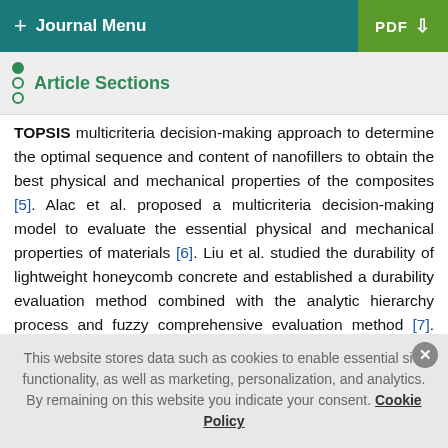+ Journal Menu   PDF ↓
Article Sections
TOPSIS multicriteria decision-making approach to determine the optimal sequence and content of nanofillers to obtain the best physical and mechanical properties of the composites [5]. Alac et al. proposed a multicriteria decision-making model to evaluate the essential physical and mechanical properties of materials [6]. Liu et al. studied the durability of lightweight honeycomb concrete and established a durability evaluation method combined with the analytic hierarchy process and fuzzy comprehensive evaluation method [7]. Ozsahin et al. used a mixed analytic hierarchy process and multiobjective optimization method based on ratio analysis to select the most suitable
This website stores data such as cookies to enable essential site functionality, as well as marketing, personalization, and analytics. By remaining on this website you indicate your consent. Cookie Policy